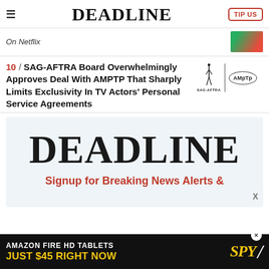DEADLINE
On Netflix
10 / SAG-AFTRA Board Overwhelmingly Approves Deal With AMPTP That Sharply Limits Exclusivity In TV Actors' Personal Service Agreements
[Figure (logo): SAG-AFTRA and AMPTP logos side by side]
[Figure (logo): DEADLINE large logo with newsletter signup text: Signup for Breaking News Alerts &]
[Figure (screenshot): Advertisement banner: AMAZON FIRE HD TABLETS JUST $45 RIGHT NOW / SPY]